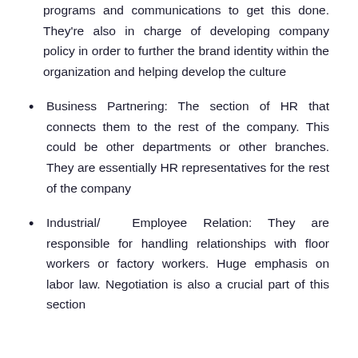programs and communications to get this done. They're also in charge of developing company policy in order to further the brand identity within the organization and helping develop the culture
Business Partnering: The section of HR that connects them to the rest of the company. This could be other departments or other branches. They are essentially HR representatives for the rest of the company
Industrial/ Employee Relation: They are responsible for handling relationships with floor workers or factory workers. Huge emphasis on labor law. Negotiation is also a crucial part of this section